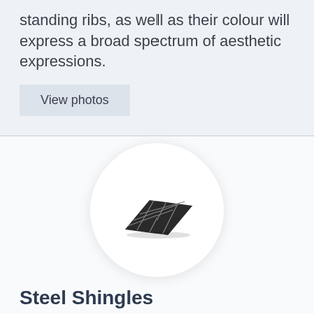standing ribs, as well as their colour will express a broad spectrum of aesthetic expressions.
View photos
[Figure (illustration): A dark steel shingle panel shown in perspective view, displaying a grid-like surface pattern, inside a circular white background with subtle shadow.]
Steel Shingles
Steel shingles are designed as an